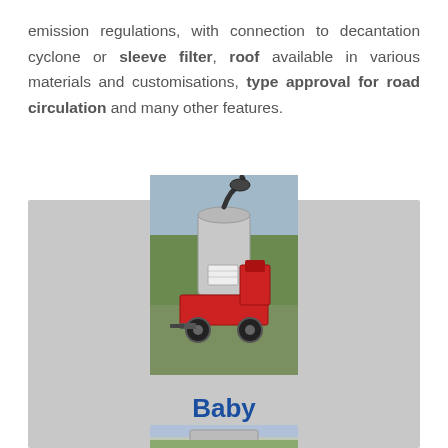emission regulations, with connection to decantation cyclone or sleeve filter, roof available in various materials and customisations, type approval for road circulation and many other features.
[Figure (photo): Industrial grain vacuum/blower machine on wheels, metallic tank with hose attachment, red frame, photographed outdoors on green grass with trees in background]
Baby
[Figure (photo): Partially visible photo of agricultural/industrial machine, cut off at bottom of page]